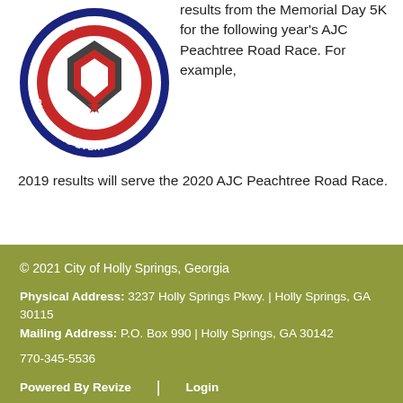[Figure (logo): Official Qualifying Event circular badge/seal logo with red, white, blue and black design]
results from the Memorial Day 5K for the following year's AJC Peachtree Road Race. For example, 2019 results will serve the 2020 AJC Peachtree Road Race.
© 2021 City of Holly Springs, Georgia

Physical Address: 3237 Holly Springs Pkwy. | Holly Springs, GA 30115
Mailing Address: P.O. Box 990 | Holly Springs, GA 30142
770-345-5536

Powered By Revize | Login